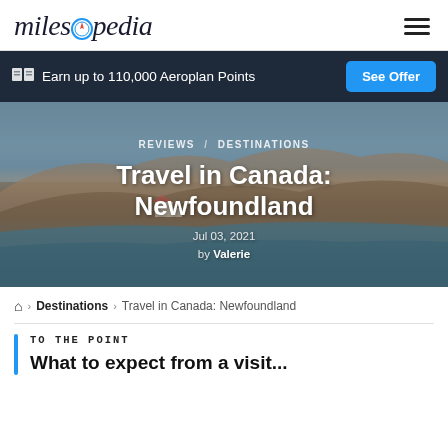milesopedia
Earn up to 110,000 Aeroplan Points  See Offer
[Figure (photo): Scenic coastal landscape of Newfoundland, Canada showing rocky outcrops, small buildings, and a body of water under an overcast sky]
REVIEWS / DESTINATIONS
Travel in Canada: Newfoundland
Jul 03, 2021
by Valerie
🏠 > Destinations > Travel in Canada: Newfoundland
TO THE POINT
What to expect from a visit...